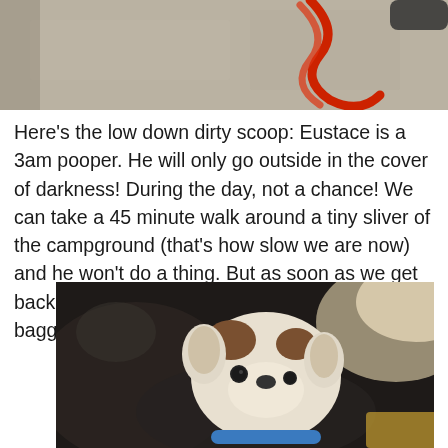[Figure (photo): Top portion of a photo showing a red leash/rope on a concrete or carpet surface, partially cropped]
Here's the low down dirty scoop: Eustace is a 3am pooper. He will only go outside in the cover of darkness! During the day, not a chance! We can take a 45 minute walk around a tiny sliver of the campground (that's how slow we are now) and he won't do a thing. But as soon as we get back inside I'm following him around with a baggie!
[Figure (photo): Photo of a small white and brown dog (chihuahua mix) resting on a dark leather couch, looking at the camera with big eyes, wearing a blue collar, with bright light in background]